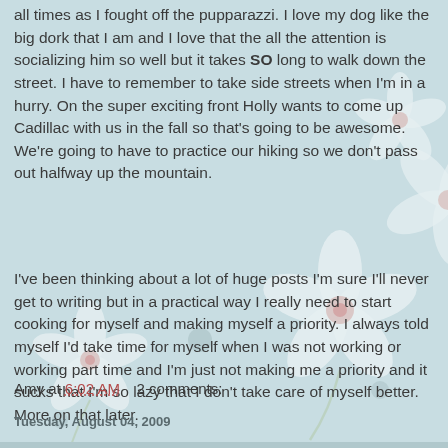all times as I fought off the pupparazzi. I love my dog like the big dork that I am and I love that the all the attention is socializing him so well but it takes SO long to walk down the street. I have to remember to take side streets when I'm in a hurry. On the super exciting front Holly wants to come up Cadillac with us in the fall so that's going to be awesome. We're going to have to practice our hiking so we don't pass out halfway up the mountain.
I've been thinking about a lot of huge posts I'm sure I'll never get to writing but in a practical way I really need to start cooking for myself and making myself a priority. I always told myself I'd take time for myself when I was not working or working part time and I'm just not making me a priority and it sucks that I'm so lazy that I don't take care of myself better. More on that later.
Amy at 6:02 AM    2 comments:
Tuesday, August 04, 2009